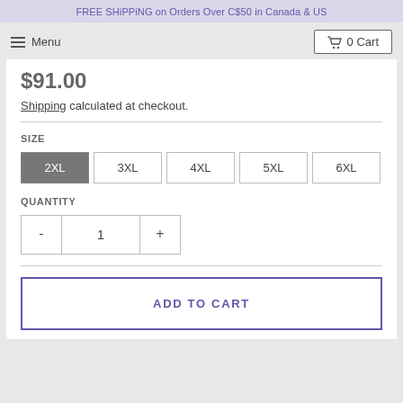FREE SHiPPiNG on Orders Over C$50 in Canada & US
Menu
0 Cart
$91.00
Shipping calculated at checkout.
SIZE
2XL  3XL  4XL  5XL  6XL
QUANTITY
-  1  +
ADD TO CART